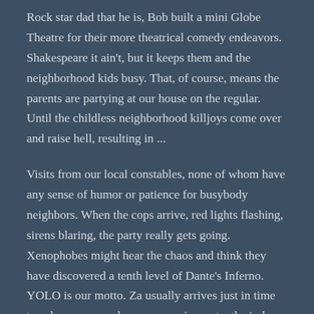Rock star dad that he is, Bob built a mini Globe Theatre for their more theatrical comedy endeavors. Shakespeare it ain't, but it keeps them and the neighborhood kids busy. That, of course, means the parents are partying at our house on the regular. Until the childless neighborhood killjoys come over and raise hell, resulting in ...
Visits from our local constables, none of whom have any sense of humor or patience for busybody neighbors. When the cops arrive, red lights flashing, sirens blaring, the party really gets going. Xenophobes might hear the chaos and think they have discovered a tenth level of Dante's Inferno. YOLO is our motto. Za usually arrives just in time to calm everyone down; no one in our tenth circle talks while they eat.